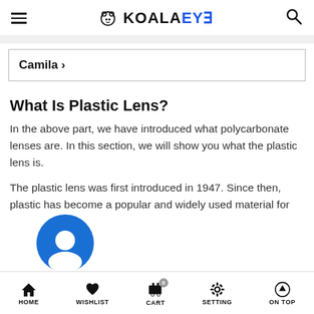KOALAEYE
Camila >
What Is Plastic Lens?
In the above part, we have introduced what polycarbonate lenses are. In this section, we will show you what the plastic lens is.
The plastic lens was first introduced in 1947. Since then, plastic has become a popular and widely used material for
HOME  WISHLIST  CART  SETTING  ON TOP